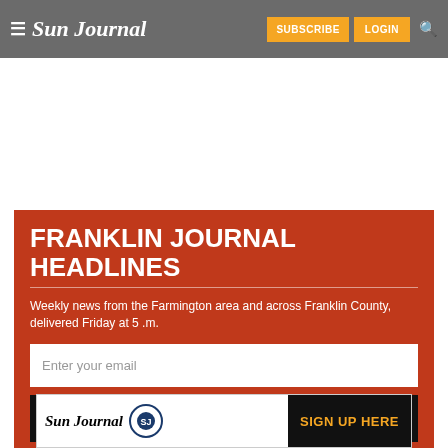Sun Journal — SUBSCRIBE LOGIN
FRANKLIN JOURNAL HEADLINES
Weekly news from the Farmington area and across Franklin County, delivered Friday at 5 .m.
Enter your email
SUBMIT
[Figure (logo): Sun Journal logo with SJ circle icon and SIGN UP HERE text on dark background]